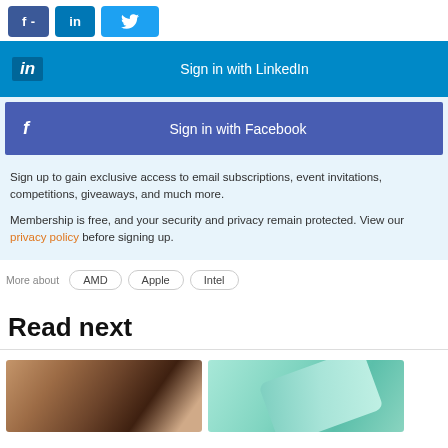[Figure (screenshot): Social share buttons: Facebook (f -), LinkedIn (in), Twitter (bird icon)]
[Figure (screenshot): Sign in with LinkedIn button - blue background]
[Figure (screenshot): Sign in with Facebook button - purple/blue background]
Sign up to gain exclusive access to email subscriptions, event invitations, competitions, giveaways, and much more.
Membership is free, and your security and privacy remain protected. View our privacy policy before signing up.
More about  AMD  Apple  Intel
Read next
[Figure (photo): Photo of smartphones on a surface with warm brown tones]
[Figure (photo): Photo of a mint/teal colored smartphone]